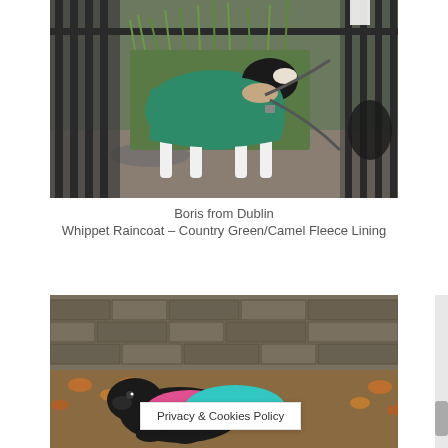[Figure (photo): A whippet dog wearing a green raincoat with camel fleece lining, on a leash, standing near iron railings with grass in the background. Another dark dog is partially visible to the right.]
Boris from Dublin
Whippet Raincoat – Country Green/Camel Fleece Lining
[Figure (photo): A dark-colored dog lying on autumn leaves against a stone wall, wearing pink and teal/turquoise coats. A 'Privacy & Cookies Policy' banner is overlaid on the image.]